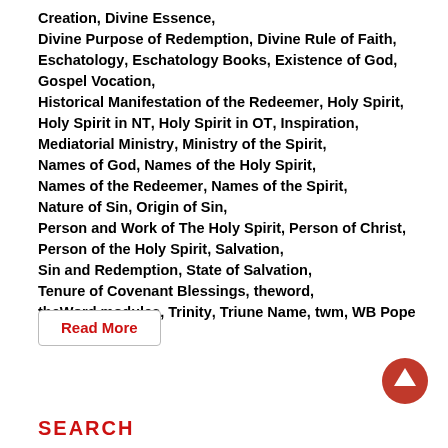Creation, Divine Essence, Divine Purpose of Redemption, Divine Rule of Faith, Eschatology, Eschatology Books, Existence of God, Gospel Vocation, Historical Manifestation of the Redeemer, Holy Spirit, Holy Spirit in NT, Holy Spirit in OT, Inspiration, Mediatorial Ministry, Ministry of the Spirit, Names of God, Names of the Holy Spirit, Names of the Redeemer, Names of the Spirit, Nature of Sin, Origin of Sin, Person and Work of The Holy Spirit, Person of Christ, Person of the Holy Spirit, Salvation, Sin and Redemption, State of Salvation, Tenure of Covenant Blessings, theword, theWord modules, Trinity, Triune Name, twm, WB Pope
Read More
SEARCH